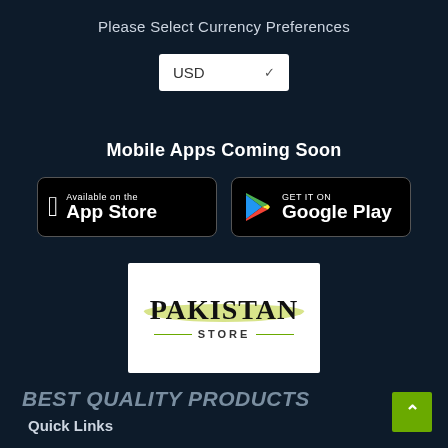Please Select Currency Preferences
[Figure (screenshot): USD currency dropdown selector with white background]
Mobile Apps Coming Soon
[Figure (logo): Apple App Store badge - Available on the App Store]
[Figure (logo): Google Play badge - GET IT ON Google Play]
[Figure (logo): Pakistan Store logo - white background with Pakistan Store text and green brush stroke]
BEST QUALITY PRODUCTS
Quick Links